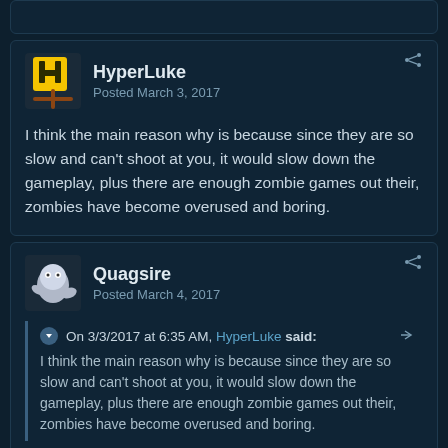HyperLuke
Posted March 3, 2017
I think the main reason why is because since they are so slow and can't shoot at you, it would slow down the gameplay, plus there are enough zombie games out their, zombies have become overused and boring.
Quagsire
Posted March 4, 2017
On 3/3/2017 at 6:35 AM, HyperLuke said:
I think the main reason why is because since they are so slow and can't shoot at you, it would slow down the gameplay, plus there are enough zombie games out their, zombies have become overused and boring.
Make more zombies. Make them fast, make them big, make them